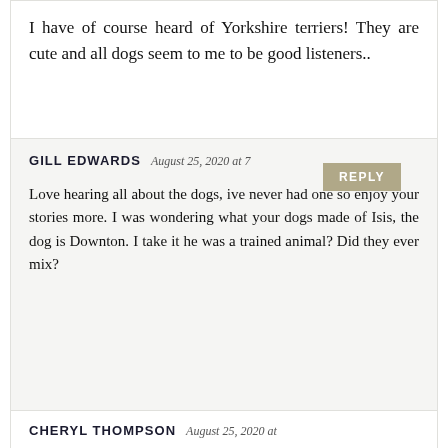I have of course heard of Yorkshire terriers! They are cute and all dogs seem to me to be good listeners..
GILL EDWARDS August 25, 2020 at 7
REPLY
Love hearing all about the dogs, ive never had one so enjoy your stories more. I was wondering what your dogs made of Isis, the dog is Downton. I take it he was a trained animal? Did they ever mix?
CHERYL THOMPSON August 25, 2020 at